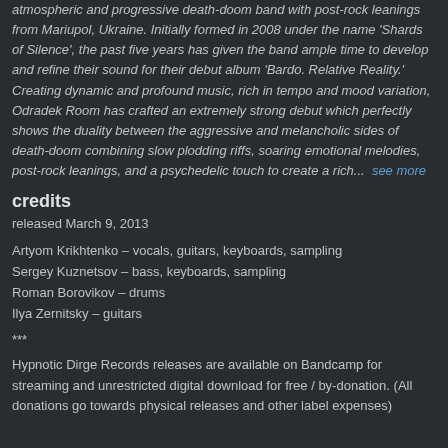atmospheric and progressive death-doom band with post-rock leanings from Mariupol, Ukraine. Initially formed in 2008 under the name 'Shards of Silence', the past five years has given the band ample time to develop and refine their sound for their debut album 'Bardo. Relative Reality.' Creating dynamic and profound music, rich in tempo and mood variation, Odradek Room has crafted an extremely strong debut which perfectly shows the duality between the aggressive and melancholic sides of death-doom combining slow plodding riffs, soaring emotional melodies, post-rock leanings, and a psychedelic touch to create a rich... see more
credits
released March 9, 2013
Artyom Krikhtenko – vocals, guitars, keyboards, sampling
Sergey Kuznetsov – bass, keyboards, sampling
Roman Borovikov – drums
Ilya Zernitsky – guitars
***
Hypnotic Dirge Records releases are available on Bandcamp for streaming and unrestricted digital download for free / by-donation. (All donations go towards physical releases and other label expenses)